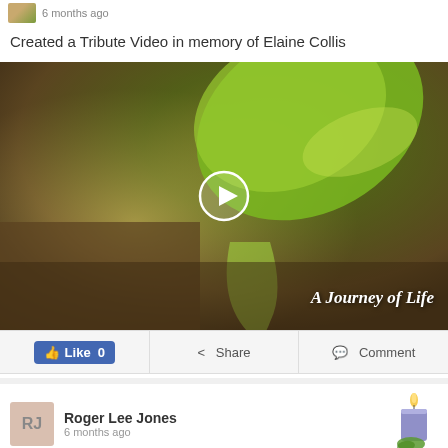6 months ago
Created a Tribute Video in memory of Elaine Collis
[Figure (screenshot): Video thumbnail showing green leaves with water droplets and the text 'A Journey of Life' with a play button overlay]
Like 0   Share   Comment
[Figure (illustration): Avatar with initials RJ on tan background]
Roger Lee Jones
6 months ago
[Figure (illustration): Purple candle with flame and green leaf at base]
Lit a candle in memory of Elaine Collis